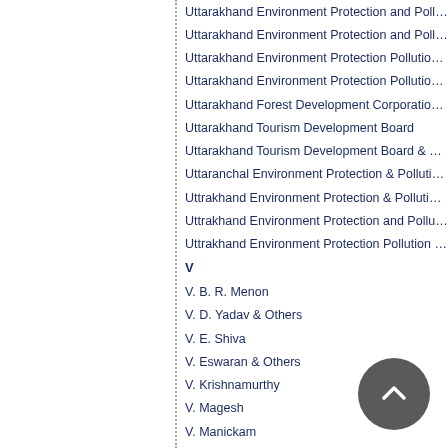Uttarakhand Environment Protection and Pollution...
Uttarakhand Environment Protection and Pollution...
Uttarakhand Environment Protection Pollution Co...
Uttarakhand Environment Protection Pollution Co...
Uttarakhand Forest Development Corporation &...
Uttarakhand Tourism Development Board
Uttarakhand Tourism Development Board & Othe...
Uttaranchal Environment Protection & Pollution C...
Uttrakhand Environment Protection & Pollution C...
Uttrakhand Environment Protection and Pollution...
Uttrakhand Environment Protection Pollution Co...
V
V. B. R. Menon
V. D. Yadav & Others
V. E. Shiva
V. Eswaran & Others
V. Krishnamurthy
V. Magesh
V. Manickam